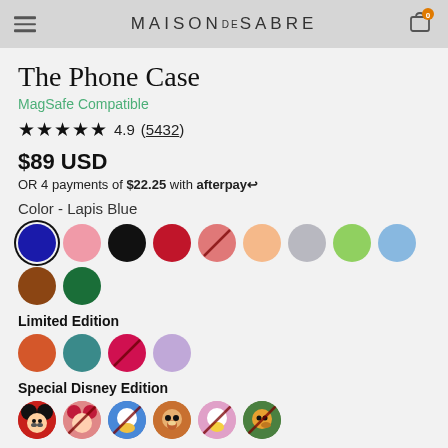MAISON de SABRE
The Phone Case
MagSafe Compatible
★★★★★ 4.9 (5432)
$89 USD
OR 4 payments of $22.25 with afterpay
Color - Lapis Blue
[Figure (illustration): Color swatches: Lapis Blue (selected), Pink, Black, Red, Coral (unavailable), Peach, Silver, Light Green, Sky Blue, Brown, Dark Green]
Limited Edition
[Figure (illustration): Limited Edition color swatches: Orange, Teal, Hot Pink (unavailable), Lavender]
Special Disney Edition
[Figure (illustration): Special Disney Edition swatches: Mickey Mouse, Minnie Mouse (unavailable), Donald Duck (unavailable), Chip & Dale, Daisy Duck (unavailable), Pluto (unavailable)]